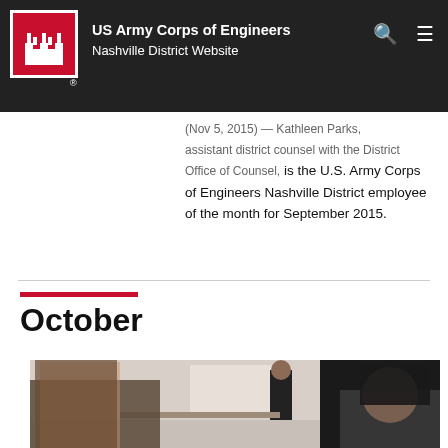US Army Corps of Engineers Nashville District Website
District September 2015 Employee of the Month
(Nov 5, 2015) — Kathleen Parks, assistant district counsel with the District Office of Counsel, is the U.S. Army Corps of Engineers Nashville District employee of the month for September 2015.
October
[Figure (photo): Two women at an event, one with long brown hair in the foreground, another standing in background near a presentation screen in a conference room.]